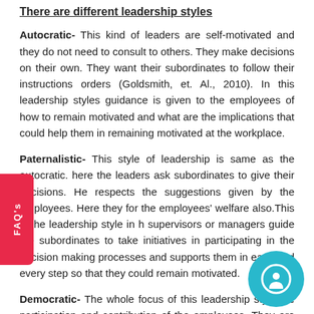There are different leadership styles
Autocratic- This kind of leaders are self-motivated and they do not need to consult to others. They make decisions on their own. They want their subordinates to follow their instructions orders (Goldsmith, et. Al., 2010). In this leadership styles guidance is given to the employees of how to remain motivated and what are the implications that could help them in remaining motivated at the workplace.
Paternalistic- This style of leadership is same as the autocratic. here the leaders ask subordinates to give their decisions. He respects the suggestions given by the employees. Here they for the employees' welfare also.This is the leadership style in h supervisors or managers guide the subordinates to take initiatives in participating in the decision making processes and supports them in each and every step so that they could remain motivated.
Democratic- The whole focus of this leadership style the participation and contribution of the employees. They are the